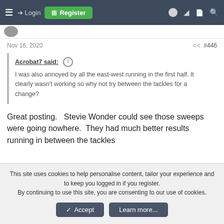≡ → Login  Register
Nov 16, 2020  #446
Acrobat7 said: ↑

I was also annoyed by all the east-west running in the first half. It clearly wasn't working so why not try between the tackles for a change?
Great posting.   Stevie Wonder could see those sweeps were going nowhere.  They had much better results running in between the tackles
This site uses cookies to help personalise content, tailor your experience and to keep you logged in if you register.
By continuing to use this site, you are consenting to our use of cookies.
✓ Accept   Learn more...